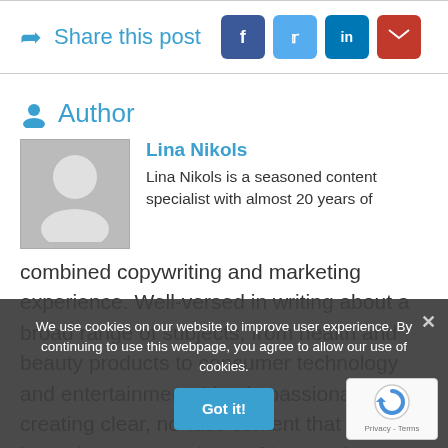Share this post
Author
Lina Nikols
Lina Nikols is a seasoned content specialist with almost 20 years of combined copywriting and marketing experience. Well-versed in writing about a broad range of subjects, from health and beauty products to consumer technology and entertainment. Lina is passionate about creating clear, no-fuss content that zeroes in on the wants and needs of her readers. When she's not writing or
We use cookies on our website to improve user experience. By continuing to use this webpage, you agree to allow our use of cookies.